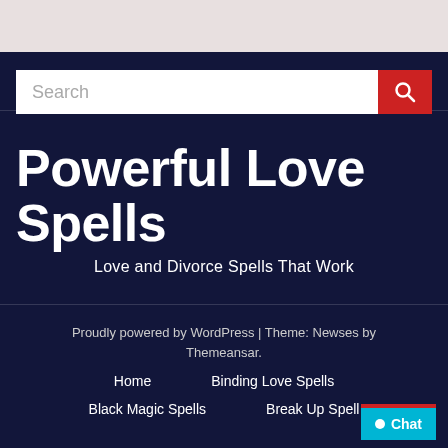[Figure (screenshot): Top grey bar header area of website]
[Figure (screenshot): Search bar with white input field and red search button with magnifying glass icon]
Powerful Love Spells
Love and Divorce Spells That Work
Proudly powered by WordPress | Theme: Newses by Themeansar.
Home
Binding Love Spells
Black Magic Spells
Break Up Spell